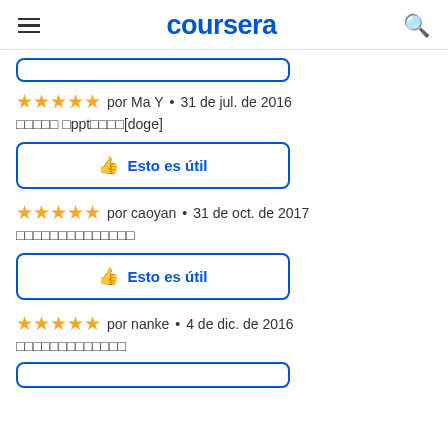coursera
★★★★★  por Ma Y  •  31 de jul. de 2016
□□□□□ □ppt□□□□[doge]
Esto es útil
★★★★★  por caoyan  •  31 de oct. de 2017
□□□□□□□□□□□□□□
Esto es útil
★★★★★  por nanke  •  4 de dic. de 2016
□□□□□□□□□□□□□